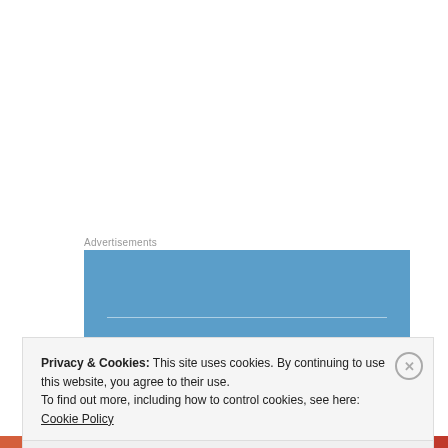Advertisements
[Figure (logo): Automattic advertisement banner — blue background with 'AUTOMATTIC' text in white spaced letters and a thin horizontal white line above]
Privacy & Cookies: This site uses cookies. By continuing to use this website, you agree to their use.
To find out more, including how to control cookies, see here: Cookie Policy
Close and accept